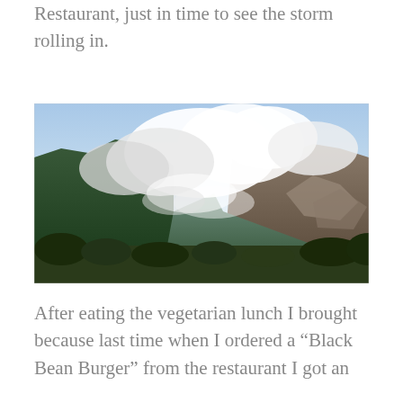Restaurant, just in time to see the storm rolling in.
[Figure (photo): Mountain valley landscape with storm clouds rolling in over forested ridgelines and rocky terrain.]
After eating the vegetarian lunch I brought because last time when I ordered a “Black Bean Burger” from the restaurant I got an